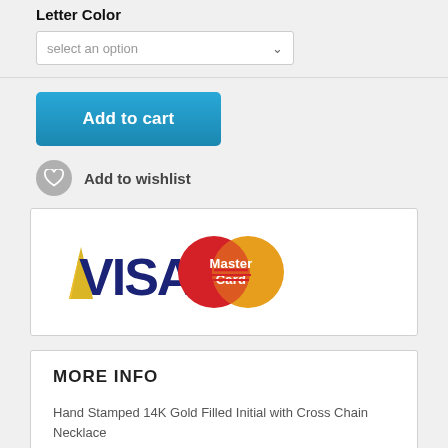Letter Color
select an option
Add to cart
Add to wishlist
[Figure (logo): VISA and MasterCard payment logos side by side]
MORE INFO
Hand Stamped 14K Gold Filled Initial with Cross Chain Necklace
This beautiful piece features: